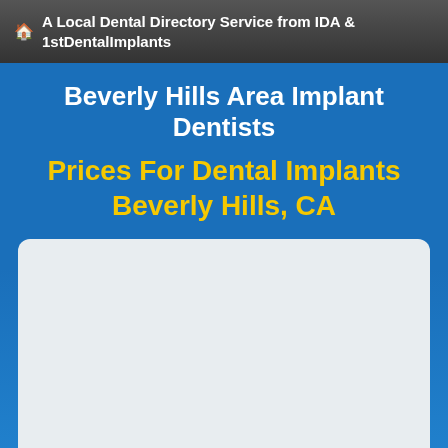A Local Dental Directory Service from IDA & 1stDentalImplants
Beverly Hills Area Implant Dentists
Prices For Dental Implants Beverly Hills, CA
[Figure (other): Light gray rounded rectangle content card area, empty]